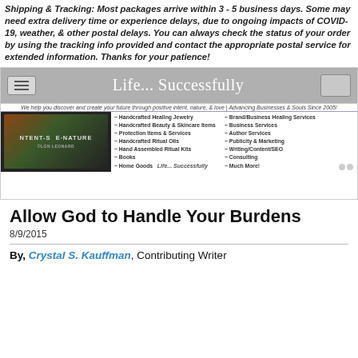Shipping & Tracking: Most packages arrive within 3 - 5 business days. Some may need extra delivery time or experience delays, due to ongoing impacts of COVID-19, weather, & other postal delays. You can always check the status of your order by using the tracking info provided and contact the appropriate postal service for extended information. Thanks for your patience!
[Figure (screenshot): Screenshot of a website called 'Life... Successfully' showing a navigation bar with hamburger menu, site logo with tree imagery, product/service category links including Handcrafted Healing Jewelry, Beauty & Skincare Items, Protection Items & Services, Handcrafted Ritual Oils, Hand Assembled Ritual Kits, Books, Home Goods, and business services.]
Allow God to Handle Your Burdens
8/9/2015
By, Crystal S. Kauffman, Contributing Writer